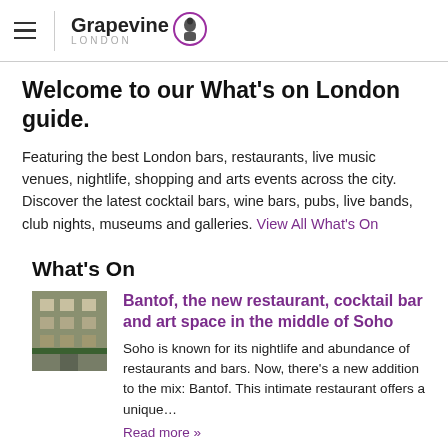Grapevine London
Welcome to our What's on London guide.
Featuring the best London bars, restaurants, live music venues, nightlife, shopping and arts events across the city. Discover the latest cocktail bars, wine bars, pubs, live bands, club nights, museums and galleries. View All What's On
What's On
[Figure (photo): Thumbnail photo of Bantof restaurant exterior in Soho]
Bantof, the new restaurant, cocktail bar and art space in the middle of Soho
Soho is known for its nightlife and abundance of restaurants and bars. Now, there's a new addition to the mix: Bantof. This intimate restaurant offers a unique… Read more »